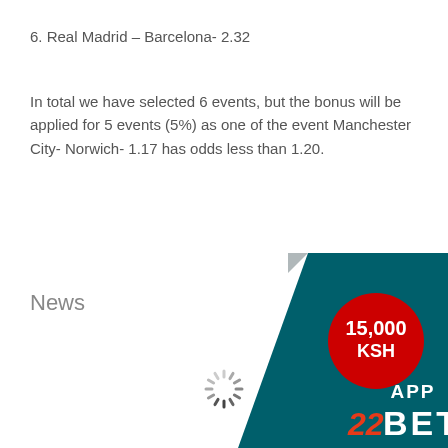6. Real Madrid – Barcelona- 2.32
In total we have selected 6 events, but the bonus will be applied for 5 events (5%) as one of the event Manchester City- Norwich- 1.17 has odds less than 1.20.
News
[Figure (other): Loading spinner icon (animated loading indicator) in center of page]
[Figure (other): 22BET app promotional banner in bottom-right corner with teal background, red badge showing 15,000 KSH, APP text, and 22BET logo]